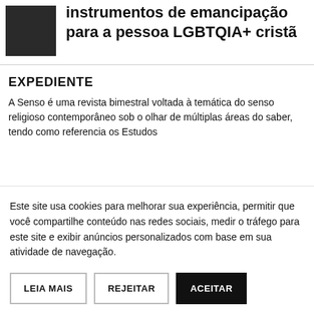[Figure (photo): Small dark thumbnail photo on the left side of the article header]
instrumentos de emancipação para a pessoa LGBTQIA+ cristã
EXPEDIENTE
A Senso é uma revista bimestral voltada à temática do senso religioso contemporâneo sob o olhar de múltiplas áreas do saber, tendo como referencia os Estudos
Este site usa cookies para melhorar sua experiência, permitir que você compartilhe conteúdo nas redes sociais, medir o tráfego para este site e exibir anúncios personalizados com base em sua atividade de navegação.